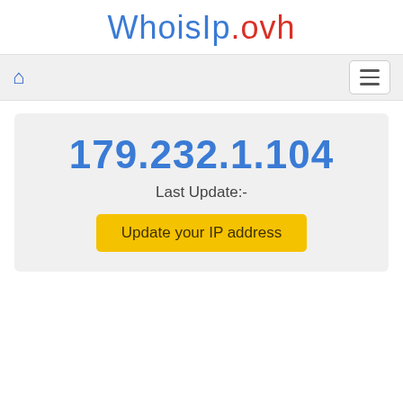WhoisIp.ovh
[Figure (screenshot): Navigation bar with home icon on left and hamburger menu button on right]
179.232.1.104
Last Update:-
Update your IP address